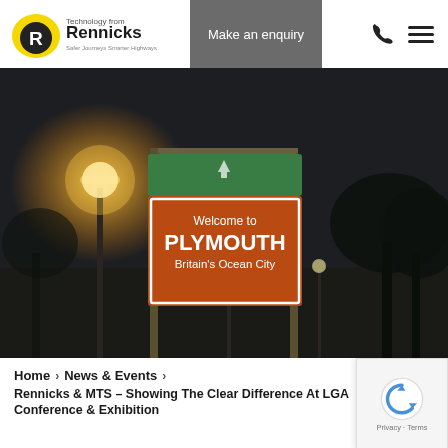Technology from Rennicks | Make an enquiry
[Figure (photo): Night-time photograph of a 'Welcome to PLYMOUTH Britain's Ocean City' road sign, illuminated by orange street lights, with trees in the background.]
RENNICKS & MTS AT LGA CONFERENCE & EXHIBITION
The main focus at the show will be the launch of a new innovative product – the Tourist Gateway Sign.
Home > News & Events > Rennicks & MTS – Showing The Clear Difference At LGA Conference & Exhibition